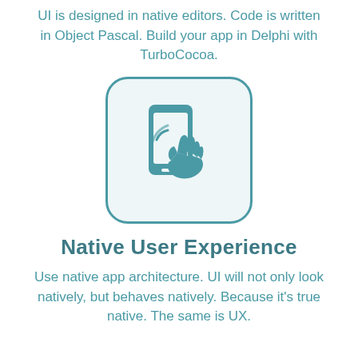UI is designed in native editors. Code is written in Object Pascal. Build your app in Delphi with TurboCocoa.
[Figure (illustration): A rounded square icon with light blue background and teal border, containing a teal icon of a hand with pointing finger touching a smartphone screen.]
Native User Experience
Use native app architecture. UI will not only look natively, but behaves natively. Because it's true native. The same is UX.